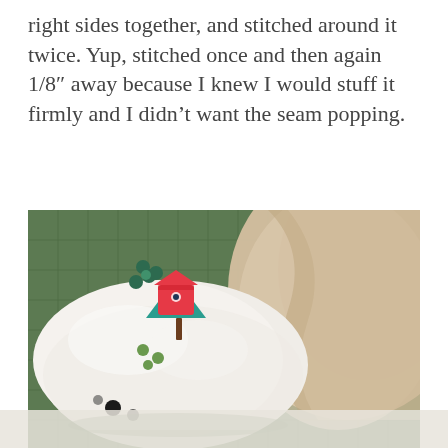right sides together, and stitched around it twice. Yup, stitched once and then again 1/8″ away because I knew I would stuff it firmly and I didn’t want the seam popping.
[Figure (photo): A stuffed white fabric piece with colorful printed birdhouse/flower design lying on a green cutting mat, next to a larger beige fabric piece.]